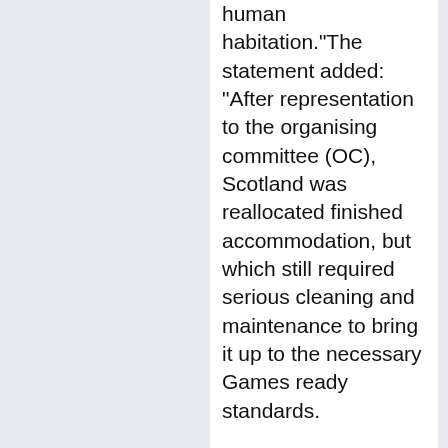human habitation."The statement added: "After representation to the organising committee (OC), Scotland was reallocated finished accommodation, but which still required serious cleaning and maintenance to bring it up to the necessary Games ready standards.
"This has now been largely addressed by the Scotland team management, cleaning the seven-story tower block from top to bottom themselves with assistance from Delhi Games volunteers. However many of the other blocks in the Residential Zone still remain in a highly